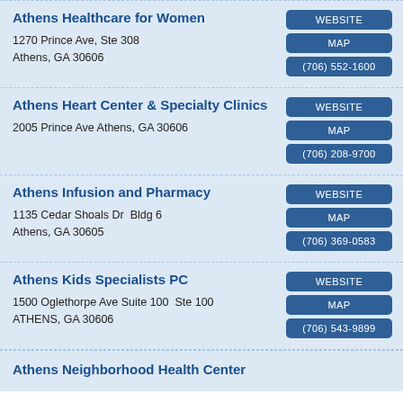Athens Healthcare for Women
1270 Prince Ave, Ste 308
Athens, GA 30606
Athens Heart Center & Specialty Clinics
2005 Prince Ave Athens, GA 30606
Athens Infusion and Pharmacy
1135 Cedar Shoals Dr  Bldg 6
Athens, GA 30605
Athens Kids Specialists PC
1500 Oglethorpe Ave Suite 100  Ste 100
ATHENS, GA 30606
Athens Neighborhood Health Center